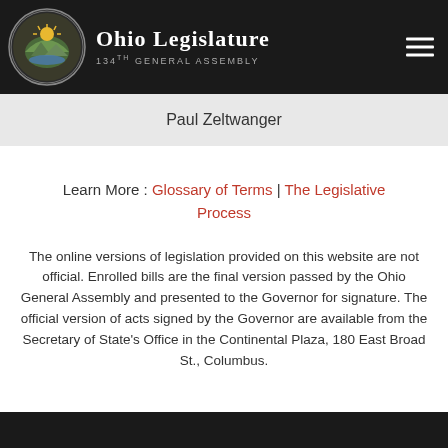Ohio Legislature 134TH GENERAL ASSEMBLY
Paul Zeltwanger
Learn More : Glossary of Terms | The Legislative Process
The online versions of legislation provided on this website are not official. Enrolled bills are the final version passed by the Ohio General Assembly and presented to the Governor for signature. The official version of acts signed by the Governor are available from the Secretary of State's Office in the Continental Plaza, 180 East Broad St., Columbus.